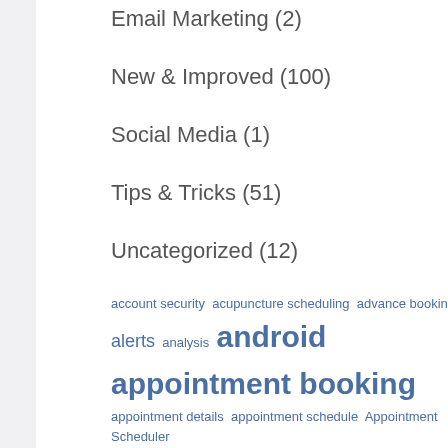Email Marketing (2)
New & Improved (100)
Social Media (1)
Tips & Tricks (51)
Uncategorized (12)
account security acupuncture scheduling advance booking alerts analysis android appointment booking appointment details appointment schedule Appointment Scheduler appointment scheduling software appointment status Authorize.net automated appointment reminders automated messages best appointment scheduling